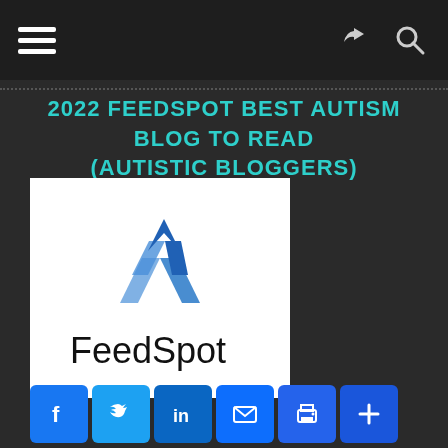Navigation bar with hamburger menu, share icon, and search icon
2022 FEEDSPOT BEST AUTISM BLOG TO READ (AUTISTIC BLOGGERS)
[Figure (logo): FeedSpot logo: blue triangular stacked chevron/arrow mark above the word 'FeedSpot' in black sans-serif text, on white background]